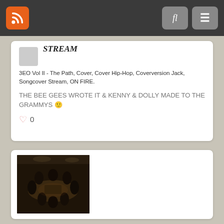Navigation bar with RSS icon, search button, and menu button
STREAM
3EO Vol II - The Path, Cover, Cover Hip-Hop, Coverversion Jack, Songcover Stream, ON FIRE.
THE BEE GEES WROTE IT & KENNY & DOLLY MADE TO THE GRAMMYS 🙂
0
[Figure (photo): Dark photo of people gathered around a table in a studio or meeting room, viewed from above/side angle]